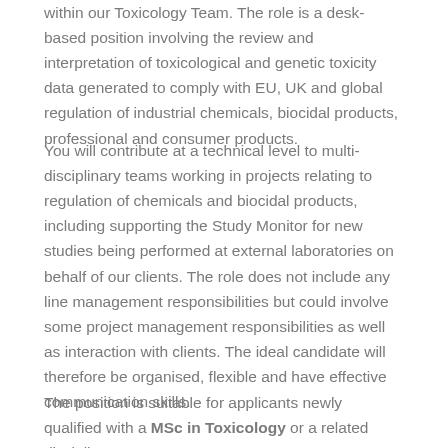within our Toxicology Team. The role is a desk-based position involving the review and interpretation of toxicological and genetic toxicity data generated to comply with EU, UK and global regulation of industrial chemicals, biocidal products, professional and consumer products.
You will contribute at a technical level to multi-disciplinary teams working in projects relating to regulation of chemicals and biocidal products, including supporting the Study Monitor for new studies being performed at external laboratories on behalf of our clients. The role does not include any line management responsibilities but could involve some project management responsibilities as well as interaction with clients. The ideal candidate will therefore be organised, flexible and have effective communication skills.
The position is suitable for applicants newly qualified with a MSc in Toxicology or a related discipline.